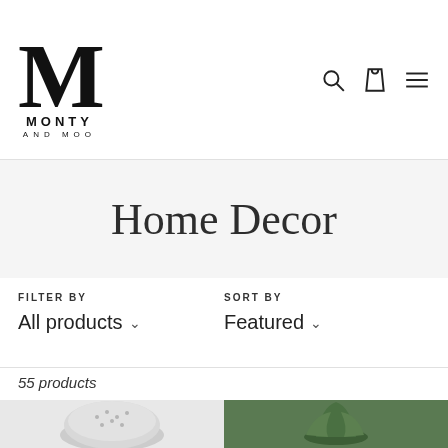[Figure (logo): Monty and Moo brand logo — large stylized M letterform above the text MONTY AND MOO]
[Figure (infographic): Navigation icons: search magnifier, shopping bag, and hamburger menu]
Home Decor
FILTER BY
All products ∨
SORT BY
Featured ∨
55 products
[Figure (photo): Bottom-left partial product thumbnail, light grey background, ceramic bowl with dotted pattern]
[Figure (photo): Bottom-right partial product thumbnail, dark green background, plant or nature item]